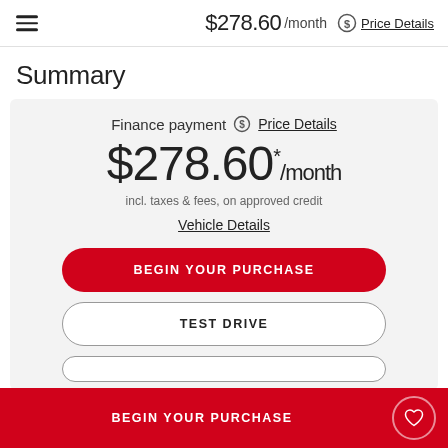$278.60 /month Price Details
Summary
Finance payment Price Details
$278.60 * /month
incl. taxes & fees, on approved credit
Vehicle Details
BEGIN YOUR PURCHASE
TEST DRIVE
BEGIN YOUR PURCHASE